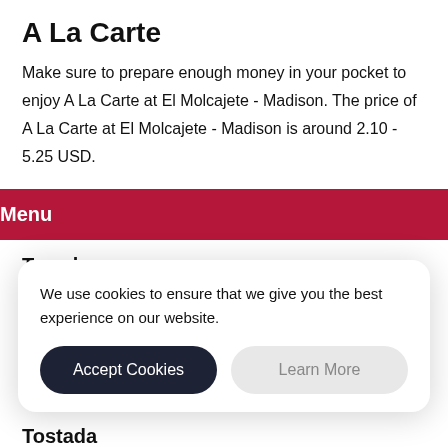A La Carte
Make sure to prepare enough money in your pocket to enjoy A La Carte at El Molcajete - Madison. The price of A La Carte at El Molcajete - Madison is around 2.10 - 5.25 USD.
Menu
Tamale
3.10 USD
We use cookies to ensure that we give you the best experience on our website.
Accept Cookies
Learn More
Tostada